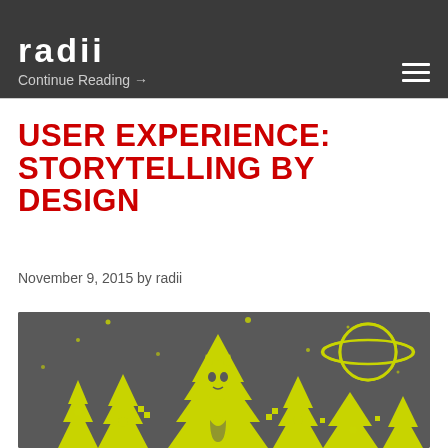radii
Continue Reading →
USER EXPERIENCE: STORYTELLING BY DESIGN
November 9, 2015 by radii
[Figure (illustration): Stylized illustration on dark gray background showing yellow-green pixelated trees, a wolf/fox character with a red riding hood figure, and a ringed planet, in a flat retro-pixel art style.]